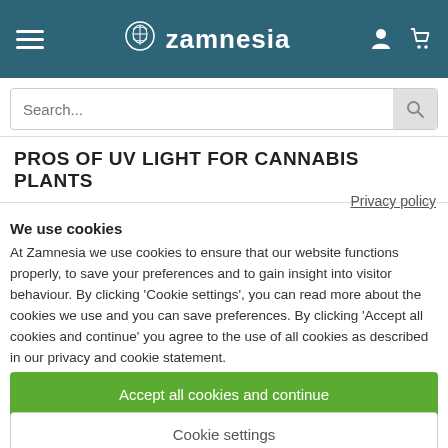Zamnesia
Search...
PROS OF UV LIGHT FOR CANNABIS PLANTS
Privacy policy
We use cookies
At Zamnesia we use cookies to ensure that our website functions properly, to save your preferences and to gain insight into visitor behaviour. By clicking 'Cookie settings', you can read more about the cookies we use and you can save preferences. By clicking 'Accept all cookies and continue' you agree to the use of all cookies as described in our privacy and cookie statement.
Accept all cookies and continue
Cookie settings